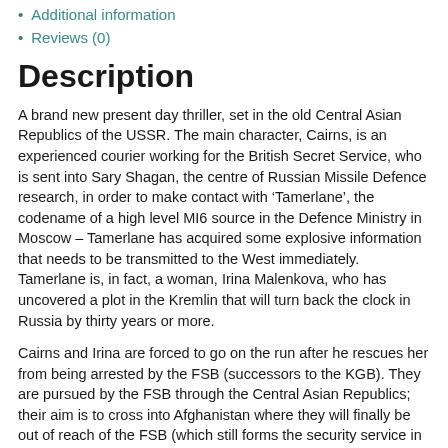Additional information
Reviews (0)
Description
A brand new present day thriller, set in the old Central Asian Republics of the USSR. The main character, Cairns, is an experienced courier working for the British Secret Service, who is sent into Sary Shagan, the centre of Russian Missile Defence research, in order to make contact with ‘Tamerlane’, the codename of a high level MI6 source in the Defence Ministry in Moscow – Tamerlane has acquired some explosive information that needs to be transmitted to the West immediately. Tamerlane is, in fact, a woman, Irina Malenkova, who has uncovered a plot in the Kremlin that will turn back the clock in Russia by thirty years or more.
Cairns and Irina are forced to go on the run after he rescues her from being arrested by the FSB (successors to the KGB). They are pursued by the FSB through the Central Asian Republics; their aim is to cross into Afghanistan where they will finally be out of reach of the FSB (which still forms the security service in the